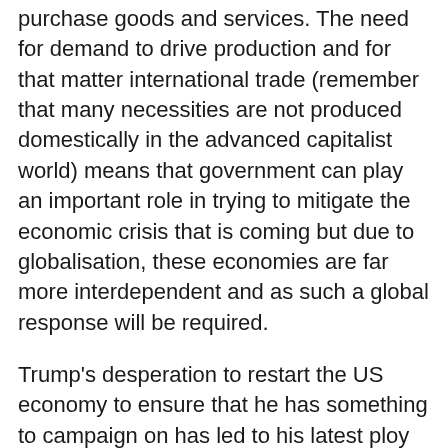purchase goods and services. The need for demand to drive production and for that matter international trade (remember that many necessities are not produced domestically in the advanced capitalist world) means that government can play an important role in trying to mitigate the economic crisis that is coming but due to globalisation, these economies are far more interdependent and as such a global response will be required.
Trump's desperation to restart the US economy to ensure that he has something to campaign on has led to his latest ploy of trying to reopen the economy in the middle of a pandemic.  His insistence that he can actually do so has once again run smack into reality: while he can close the economy, he cannot